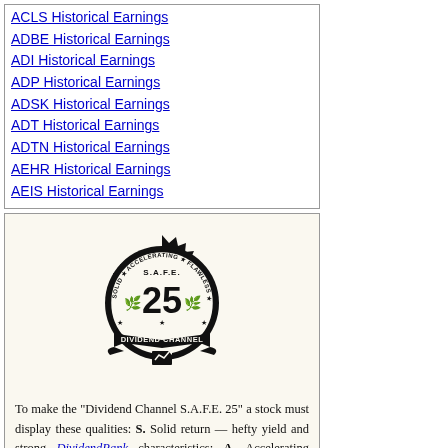ACLS Historical Earnings
ADBE Historical Earnings
ADI Historical Earnings
ADP Historical Earnings
ADSK Historical Earnings
ADT Historical Earnings
ADTN Historical Earnings
AEHR Historical Earnings
AEIS Historical Earnings
[Figure (logo): Dividend Channel S.A.F.E. 25 badge — circular black badge with spiky border, text reading SOLID ACCELERATING FLAWLESS ENDURING around the ring, S.A.F.E. at top, large 25 in center, DIVIDEND CHANNEL on banner at bottom, wheat stalks and stars decorations]
To make the "Dividend Channel S.A.F.E. 25" a stock must display these qualities: S. Solid return — hefty yield and strong DividendRank characteristics; A. Accelerating amount — consistent dividend increases over time; F. Flawless history — never a missed or lowered dividend; E. Enduring — at least two decades of dividends.